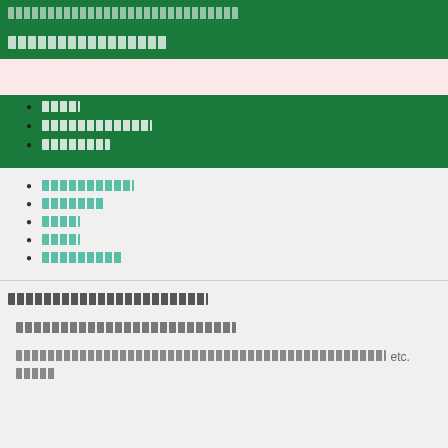[redacted header text]
[redacted section title]
[redacted item 1]
[redacted item 2]
[redacted item 3]
[redacted link item 1]
[redacted link item 2]
[redacted link item 3]
[redacted link item 4]
[redacted link item 5]
[redacted footer title]
[redacted footer subtitle]
[redacted footer body] etc. [redacted]